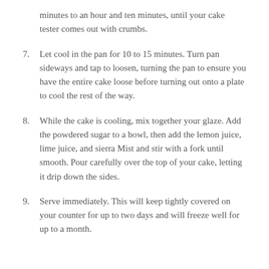minutes to an hour and ten minutes, until your cake tester comes out with crumbs.
7. Let cool in the pan for 10 to 15 minutes. Turn pan sideways and tap to loosen, turning the pan to ensure you have the entire cake loose before turning out onto a plate to cool the rest of the way.
8. While the cake is cooling, mix together your glaze. Add the powdered sugar to a bowl, then add the lemon juice, lime juice, and sierra Mist and stir with a fork until smooth. Pour carefully over the top of your cake, letting it drip down the sides.
9. Serve immediately. This will keep tightly covered on your counter for up to two days and will freeze well for up to a month.